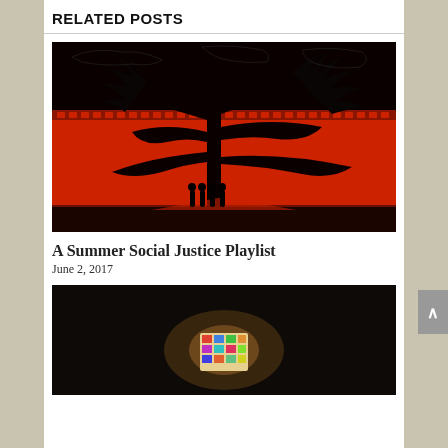RELATED POSTS
[Figure (photo): Concert stage photo with silhouette of Joshua tree against red background with film strip border and silhouettes of band members]
A Summer Social Justice Playlist
June 2, 2017
[Figure (photo): Dark photograph showing a brightly lit object or display in a dark room]